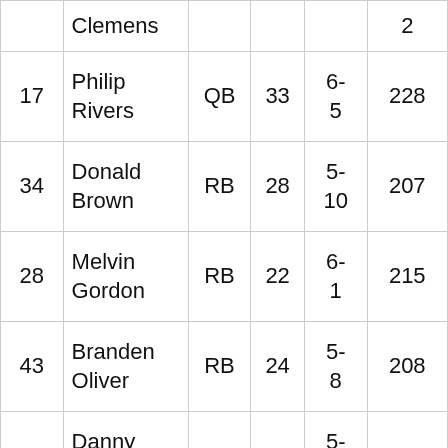| # | Name | Pos | Age | Ht | Wt |
| --- | --- | --- | --- | --- | --- |
|  | Clemens |  |  |  | 2 |
| 17 | Philip Rivers | QB | 33 | 6-5 | 228 |
| 34 | Donald Brown | RB | 28 | 5-10 | 207 |
| 28 | Melvin Gordon | RB | 22 | 6-1 | 215 |
| 43 | Branden Oliver | RB | 24 | 5-8 | 208 |
| 39 | Danny Woodhead | RB | 30 | 5-8 | 200 |
| 13 | Keenan Allen | WR | 23 | 6-2 | 211 |